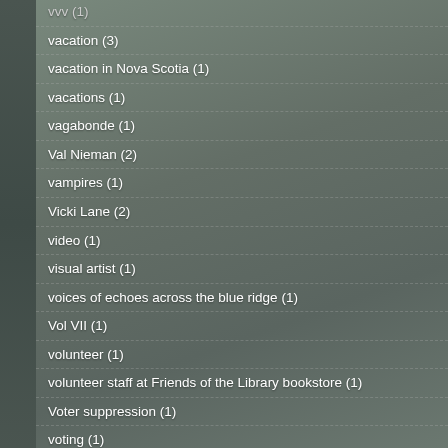vvv (1)
vacation (3)
vacation in Nova Scotia (1)
vacations (1)
vagabonde (1)
Val Nieman (2)
vampires (1)
Vicki Lane (2)
video (1)
visual artist (1)
voices of echoes across the blue ridge (1)
Vol VII (1)
volunteer (1)
volunteer staff at Friends of the Library bookstore (1)
Voter suppression (1)
voting (1)
Walker House (1)
Wampanoag native Americans (1)
war and peace (1)
Washington Post Review (1)